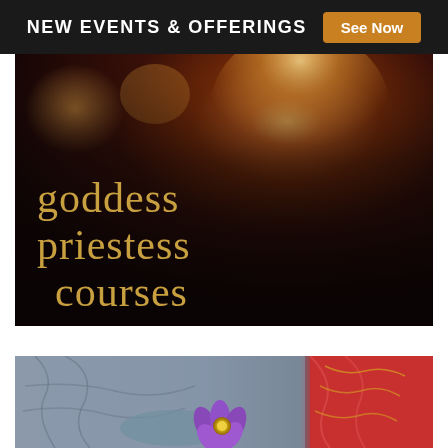NEW EVENTS & OFFERINGS  See Now
[Figure (photo): Dark atmospheric photo of hands holding a lit candle with bokeh background, overlaid with gold serif text reading 'goddess priestess courses']
[Figure (photo): Photo of a Buddha statue holding a purple lotus flower, with red decorative fabric visible on the right side]